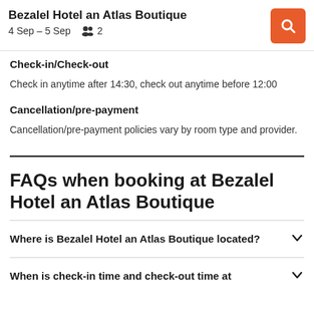Bezalel Hotel an Atlas Boutique
4 Sep – 5 Sep   👥 2
Check-in/Check-out
Check in anytime after 14:30, check out anytime before 12:00
Cancellation/pre-payment
Cancellation/pre-payment policies vary by room type and provider.
FAQs when booking at Bezalel Hotel an Atlas Boutique
Where is Bezalel Hotel an Atlas Boutique located?
When is check-in time and check-out time at